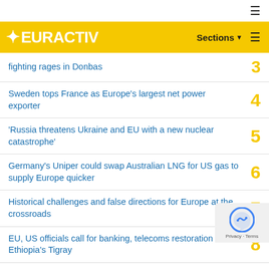EURACTIV
fighting rages in Donbas
Sweden tops France as Europe's largest net power exporter
'Russia threatens Ukraine and EU with a new nuclear catastrophe'
Germany's Uniper could swap Australian LNG for US gas to supply Europe quicker
Historical challenges and false directions for Europe at the crossroads
EU, US officials call for banking, telecoms restoration in Ethiopia's Tigray
Ukraine suggests partisans behind blasts at Russian airbase in Crimea
Tonnes of fruit stranded in EU, South Africa battle of